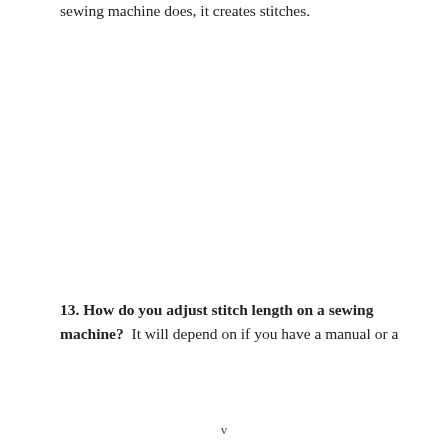sewing machine does, it creates stitches.
13. How do you adjust stitch length on a sewing machine?  It will depend on if you have a manual or a
v